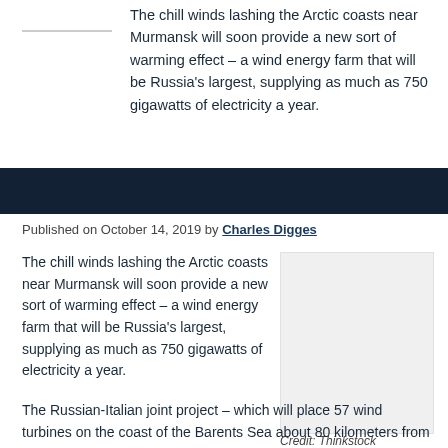The chill winds lashing the Arctic coasts near Murmansk will soon provide a new sort of warming effect – a wind energy farm that will be Russia's largest, supplying as much as 750 gigawatts of electricity a year.
Published on October 14, 2019 by Charles Digges
The chill winds lashing the Arctic coasts near Murmansk will soon provide a new sort of warming effect – a wind energy farm that will be Russia's largest, supplying as much as 750 gigawatts of electricity a year.
[Figure (photo): Placeholder image box with light grey background. Credit: Thinkstock]
Credit: Thinkstock
The Russian-Italian joint project – which will place 57 wind turbines on the coast of the Barents Sea about 80 kilometers from